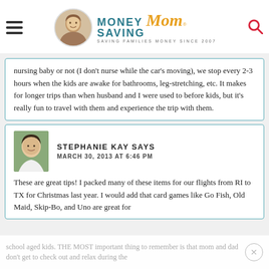Money Saving Mom® — SAVING FAMILIES MONEY SINCE 2007
nursing baby or not (I don't nurse while the car's moving), we stop every 2-3 hours when the kids are awake for bathrooms, leg-stretching, etc. It makes for longer trips than when husband and I were used to before kids, but it's really fun to travel with them and experience the trip with them.
STEPHANIE KAY SAYS
MARCH 30, 2013 AT 6:46 PM
These are great tips! I packed many of these items for our flights from RI to TX for Christmas last year. I would add that card games like Go Fish, Old Maid, Skip-Bo, and Uno are great for school aged kids. THE MOST important thing to remember is that mom and dad don't get to check out and relax during the